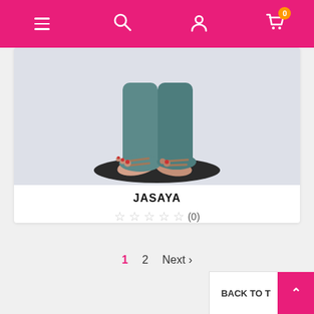[Figure (screenshot): E-commerce website header navigation bar with hamburger menu, search icon, user account icon, and shopping cart icon with badge showing 0]
[Figure (photo): Product photo showing a Traditional Sri Lankan Kolam male character doll - lower body visible wearing teal harem pants and sandals, standing on a black cloth]
JASAYA
★★★★★ (0)
Traditional Sri Lankan Kolam male CharacterMedium size doll 25" height
Rs2,000.00
Add to cart
In stock
1  2  Next >
BACK TO T